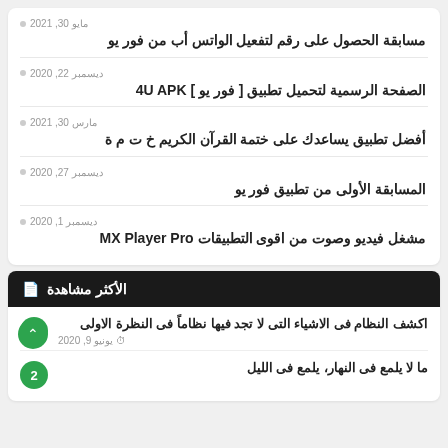مايو 30, 2021 | مسابقة الحصول على رقم لتفعيل الواتس أب من فور يو
ديسمبر 22, 2020 | الصفحة الرسمية لتحميل تطبيق [ فور يو ] 4U APK
مارس 30, 2021 | أفضل تطبيق يساعدك على ختمة القرآن الكريم خ ت م ة
ديسمبر 27, 2020 | المسابقة الأولى من تطبيق فور يو
ديسمبر 1, 2020 | مشغل فيديو وصوت من اقوى التطبيقات MX Player Pro
الأكثر مشاهدة
اكشف النظام فى الاشياء التى لا تجد فيها نظاماً فى النظرة الاولى | يونيو 9, 2020
ما لا يلمع فى النهار، يلمع فى الليل